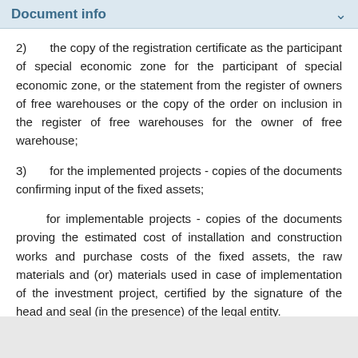Document info
2) the copy of the registration certificate as the participant of special economic zone for the participant of special economic zone, or the statement from the register of owners of free warehouses or the copy of the order on inclusion in the register of free warehouses for the owner of free warehouse;
3) for the implemented projects - copies of the documents confirming input of the fixed assets;
for implementable projects - copies of the documents proving the estimated cost of installation and construction works and purchase costs of the fixed assets, the raw materials and (or) materials used in case of implementation of the investment project, certified by the signature of the head and seal (in the presence) of the legal entity.